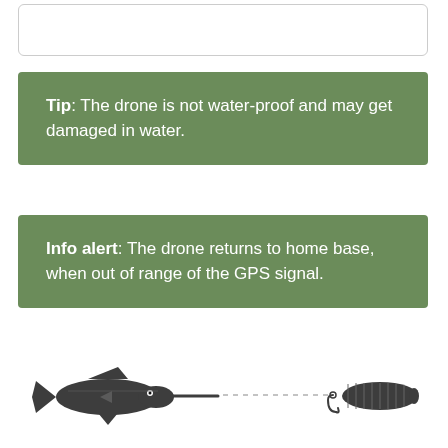Tip: The drone is not water-proof and may get damaged in water.
Info alert: The drone returns to home base, when out of range of the GPS signal.
[Figure (illustration): A swordfish on the left and a fishing lure on the right connected by a dashed line, decorative divider illustration]